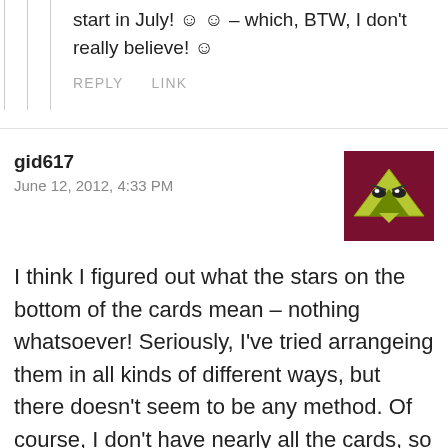start in July! 🙂 🙂 – which, BTW, I don't really believe! 🙂
REPLY   LINK
gid617
June 12, 2012, 4:33 PM
[Figure (illustration): Avatar icon: dark red/maroon square background with a stylized green triangle/bird face logo in the center]
I think I figured out what the stars on the bottom of the cards mean – nothing whatsoever! Seriously, I've tried arrangeing them in all kinds of different ways, but there doesn't seem to be any method. Of course, I don't have nearly all the cards, so that might make it a little harder, but it doesn't seem to